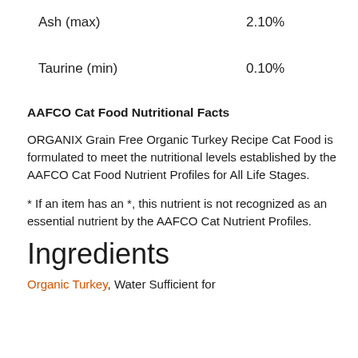Ash (max)    2.10%
Taurine (min)    0.10%
AAFCO Cat Food Nutritional Facts
ORGANIX Grain Free Organic Turkey Recipe Cat Food is formulated to meet the nutritional levels established by the AAFCO Cat Food Nutrient Profiles for All Life Stages.
* If an item has an *, this nutrient is not recognized as an essential nutrient by the AAFCO Cat Nutrient Profiles.
Ingredients
Organic Turkey, Water Sufficient for